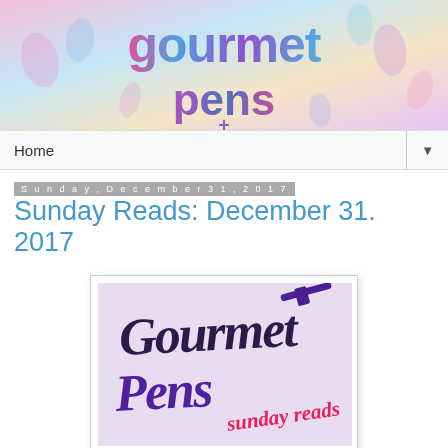[Figure (illustration): Gourmet Pens blog header banner with colorful watercolor background and stylized 'gourmet pens' logo text in pink, blue, and purple gradient]
Home ▼
Sunday, December 31, 2017
Sunday Reads: December 31. 2017
[Figure (illustration): Gourmet Pens Sunday Reads image: handwritten calligraphy text 'Gourmet Pens sunday reads' in dark purple and pink on a light lavender background]